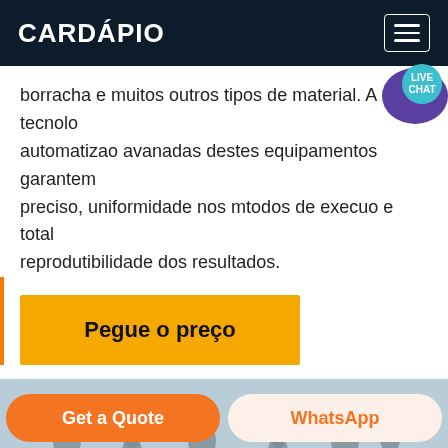CARDÁPIO
borracha e muitos outros tipos de material. A tecnolo automatizao avanadas destes equipamentos garantem preciso, uniformidade nos mtodos de execuo e total reprodutibilidade dos resultados.
Pegue o preço
[Figure (photo): Industrial equipment with multiple grey cylindrical components mounted on structures against a light blue sky, shown in a repeated pattern across the image.]
Get a Quote
WhatsApp